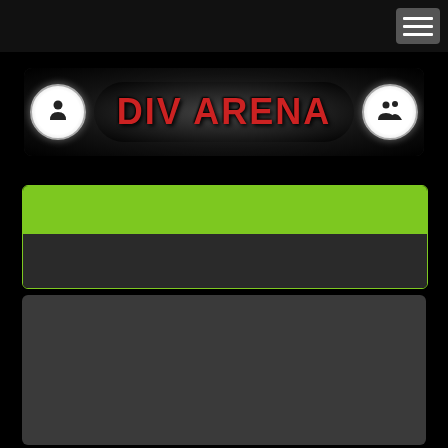[Figure (logo): DIV ARENA logo with person icons on left and right, text DIV ARENA in red on dark background with rounded pill shape]
[Figure (infographic): Green bar banner section followed by dark gray content area, with lime green border]
[Figure (infographic): Dark gray content panel]